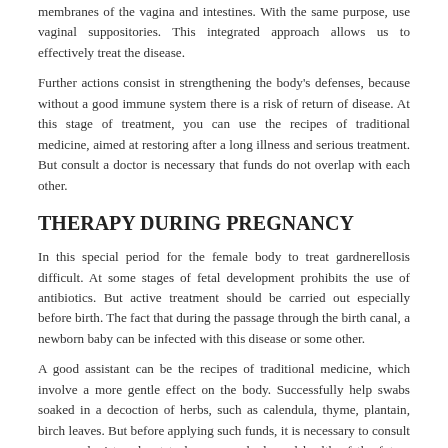membranes of the vagina and intestines. With the same purpose, use vaginal suppositories. This integrated approach allows us to effectively treat the disease.
Further actions consist in strengthening the body's defenses, because without a good immune system there is a risk of return of disease. At this stage of treatment, you can use the recipes of traditional medicine, aimed at restoring after a long illness and serious treatment. But consult a doctor is necessary that funds do not overlap with each other.
THERAPY DURING PREGNANCY
In this special period for the female body to treat gardnerellosis difficult. At some stages of fetal development prohibits the use of antibiotics. But active treatment should be carried out especially before birth. The fact that during the passage through the birth canal, a newborn baby can be infected with this disease or some other.
A good assistant can be the recipes of traditional medicine, which involve a more gentle effect on the body. Successfully help swabs soaked in a decoction of herbs, such as calendula, thyme, plantain, birch leaves. But before applying such funds, it is necessary to consult a gynecologist and not to harm your body and health of the future baby.